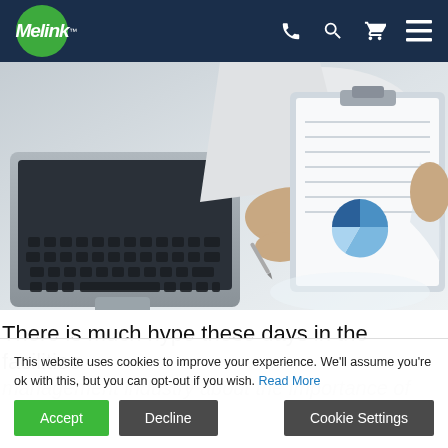Melink
[Figure (photo): Overhead view of a person in a white shirt holding a pen over a clipboard with charts/documents, next to a laptop on a white desk]
There is much hype these days in the facilities
management industry about the importance of
This website uses cookies to improve your experience. We'll assume you're ok with this, but you can opt-out if you wish. Read More
Accept | Decline | Cookie Settings